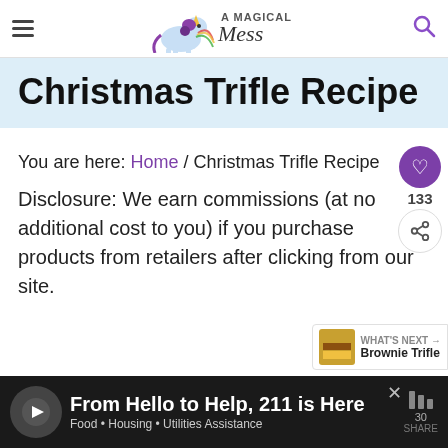A Magical Mess — site header with hamburger menu and search icon
Christmas Trifle Recipe
You are here: Home / Christmas Trifle Recipe
Disclosure: We earn commissions (at no additional cost to you) if you purchase products from retailers after clicking from our site.
[Figure (screenshot): Advertisement banner: 'From Hello to Help, 211 is Here' with subtext 'Food • Housing • Utilities Assistance' on dark background]
WHAT'S NEXT → Brownie Trifle